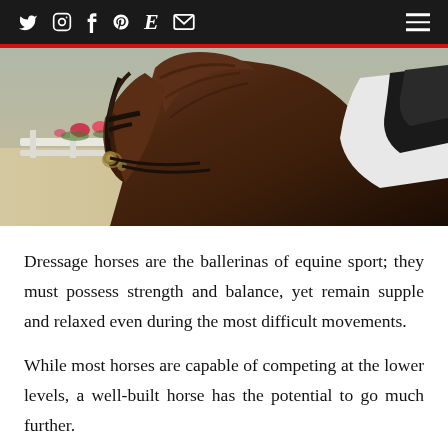Twitter Instagram Facebook Pinterest Etsy Email [hamburger menu]
[Figure (photo): Close-up photograph of a dark bay dressage horse wearing a bridle with bit, neck muscles visible, white saddle pad and black saddle visible at right, outdoor arena with white fence and flowers in background]
Dressage horses are the ballerinas of equine sport; they must possess strength and balance, yet remain supple and relaxed even during the most difficult movements.
While most horses are capable of competing at the lower levels, a well-built horse has the potential to go much further.